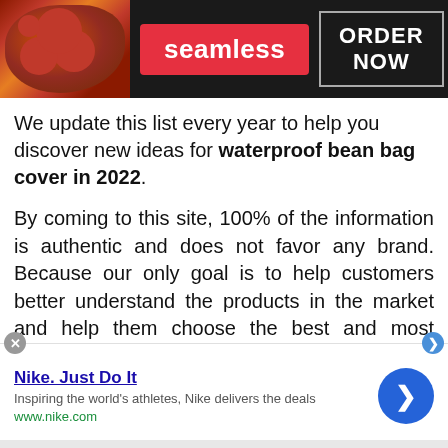[Figure (screenshot): Seamless food delivery advertisement banner with pizza image on left, red Seamless logo in center, and ORDER NOW button with border on right, all on dark background]
We update this list every year to help you discover new ideas for waterproof bean bag cover in 2022.
By coming to this site, 100% of the information is authentic and does not favor any brand. Because our only goal is to help customers better understand the products in the market and help them choose the best and most suitable product. We also do not
[Figure (screenshot): Nike Just Do It advertisement. Title: Nike. Just Do It. Description: Inspiring the world's athletes, Nike delivers the deals. URL: www.nike.com. Blue circle arrow button on right. Close X button top left.]